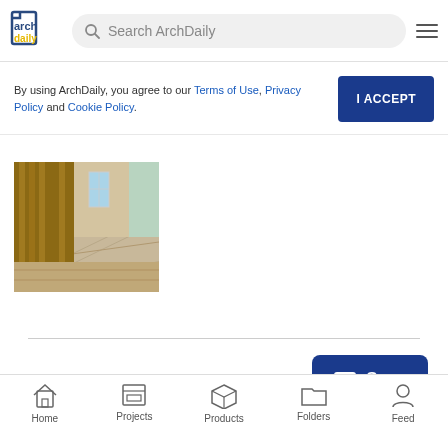[Figure (screenshot): ArchDaily website header with logo, search bar, and hamburger menu]
By using ArchDaily, you agree to our Terms of Use, Privacy Policy and Cookie Policy.
[Figure (photo): Interior architectural photo showing a hallway with stone floors and wood paneling]
[Figure (screenshot): Save button with folder icon]
Home | Projects | Products | Folders | Feed